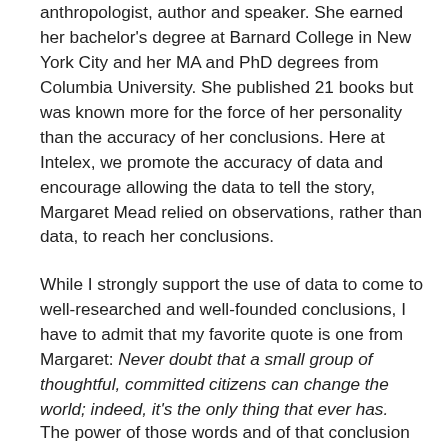anthropologist, author and speaker. She earned her bachelor's degree at Barnard College in New York City and her MA and PhD degrees from Columbia University. She published 21 books but was known more for the force of her personality than the accuracy of her conclusions. Here at Intelex, we promote the accuracy of data and encourage allowing the data to tell the story, Margaret Mead relied on observations, rather than data, to reach her conclusions.
While I strongly support the use of data to come to well-researched and well-founded conclusions, I have to admit that my favorite quote is one from Margaret: Never doubt that a small group of thoughtful, committed citizens can change the world; indeed, it's the only thing that ever has.
The power of those words and of that conclusion